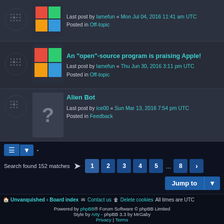Last post by lamefun « Mon Jul 04, 2016 11:41 am UTC
Posted in Off-topic
An "open"-source program is praising Apple!
Last post by lamefun « Thu Jun 30, 2016 3:11 pm UTC
Posted in Off-topic
Alien Bot
Last post by ice00 « Sun Mar 13, 2016 7:54 pm UTC
Posted in Feedback
Search found 152 matches  1 2 3 4 5 ... 8 >
Jump to
Unvanquished > Board index  Contact us  Delete cookies  All times are UTC
Powered by phpBB® Forum Software © phpBB Limited
Style by Arty - phpBB 3.3 by MrGaby
Privacy | Terms